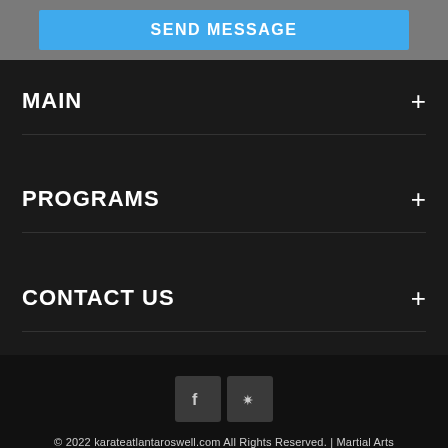SEND MESSAGE
MAIN
PROGRAMS
CONTACT US
[Figure (other): Social media icons: Facebook and Yelp]
© 2022 karateatlantaroswell.com All Rights Reserved. | Martial Arts